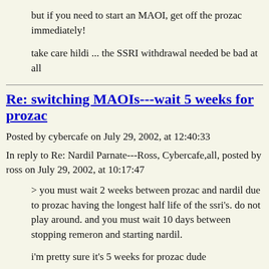but if you need to start an MAOI, get off the prozac immediately!
take care hildi ... the SSRI withdrawal needed be bad at all
Re: switching MAOIs---wait 5 weeks for prozac
Posted by cybercafe on July 29, 2002, at 12:40:33
In reply to Re: Nardil Parnate---Ross, Cybercafe,all, posted by ross on July 29, 2002, at 10:17:47
> you must wait 2 weeks between prozac and nardil due to prozac having the longest half life of the ssri's. do not play around. and you must wait 10 days between stopping remeron and starting nardil.
i'm pretty sure it's 5 weeks for prozac dude